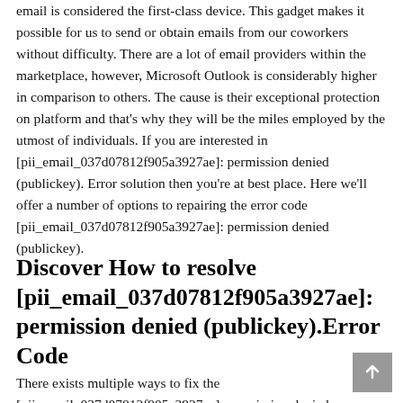email is considered the first-class device. This gadget makes it possible for us to send or obtain emails from our coworkers without difficulty. There are a lot of email providers within the marketplace, however, Microsoft Outlook is considerably higher in comparison to others. The cause is their exceptional protection on platform and that's why they will be the miles employed by the utmost of individuals. If you are interested in [pii_email_037d07812f905a3927ae]: permission denied (publickey). Error solution then you're at best place. Here we'll offer a number of options to repairing the error code [pii_email_037d07812f905a3927ae]: permission denied (publickey).
Discover How to resolve [pii_email_037d07812f905a3927ae]: permission denied (publickey).Error Code
There exists multiple ways to fix the [pii_email_037d07812f905a3927ae]: permission denied